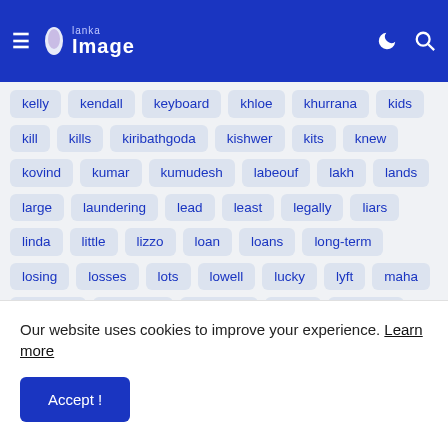≡ Lanka Image [moon icon] [search icon]
kelly
kendall
keyboard
khloe
khurrana
kids
kill
kills
kiribathgoda
kishwer
kits
knew
kovind
kumar
kumudesh
labeouf
lakh
lands
large
laundering
lead
least
legally
liars
linda
little
lizzo
loan
loans
long-term
losing
losses
lots
lowell
lucky
lyft
maha
mahinda
mahindra
malavige
malik
mandate
mandatory
mangala
manner
manoj
Our website uses cookies to improve your experience. Learn more
Accept !